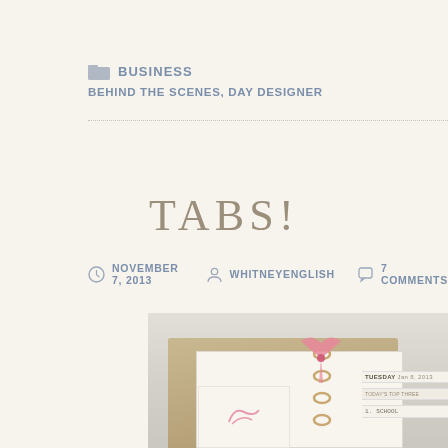BUSINESS
BEHIND THE SCENES, DAY DESIGNER
TABS!
NOVEMBER 7, 2013  WHITNEYENGLISH  7 COMMENTS
[Figure (photo): A photo of a Day Designer planner lying open, showing tabbed pages with a pink ribbon or clip visible on top of the binder rings. The planner sits on a light surface showing a Tuesday dated page.]